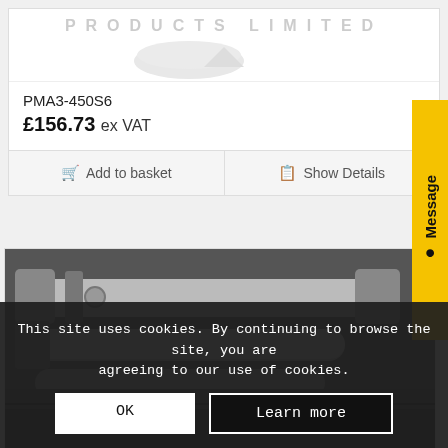[Figure (photo): Product logo/image area showing 'PRODUCTS LIMITED' text in spaced grey letters on white background, with faint product outline below]
PMA3-450S6
£156.73 ex VAT
Add to basket
Show Details
[Figure (photo): Close-up photo of a metal cylindrical component (appears to be an automotive or industrial part), showing chrome/steel tubes and metal fittings on a dark background]
Message
This site uses cookies. By continuing to browse the site, you are agreeing to our use of cookies.
OK
Learn more